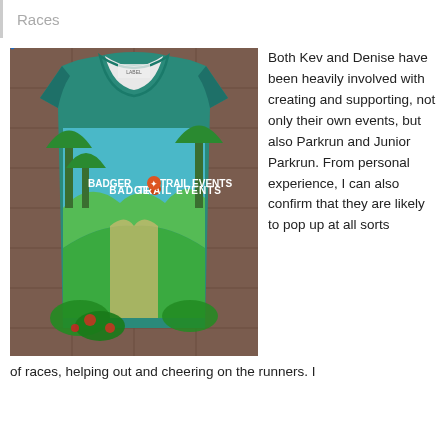Races
[Figure (photo): A colorful running vest/singlet from Badger Trail Events laid flat on a tiled floor. The vest has a jungle/forest scene printed on it with the text 'BADGER TRAIL EVENTS' and a paw print logo in the center.]
Both Kev and Denise have been heavily involved with creating and supporting, not only their own events, but also Parkrun and Junior Parkrun. From personal experience, I can also confirm that they are likely to pop up at all sorts of races, helping out and cheering on the runners. I